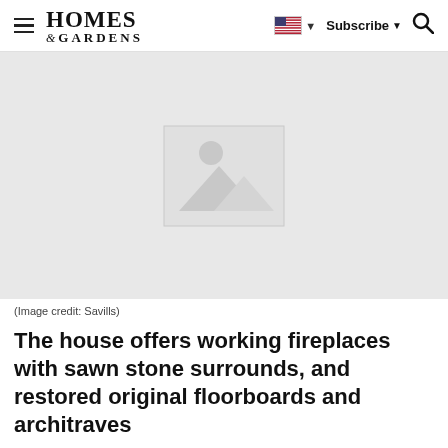Homes & Gardens — Subscribe — [search]
[Figure (photo): Placeholder image (broken/unloaded image) with grey background and image placeholder icon showing mountains and sun]
(Image credit: Savills)
The house offers working fireplaces with sawn stone surrounds, and restored original floorboards and architraves